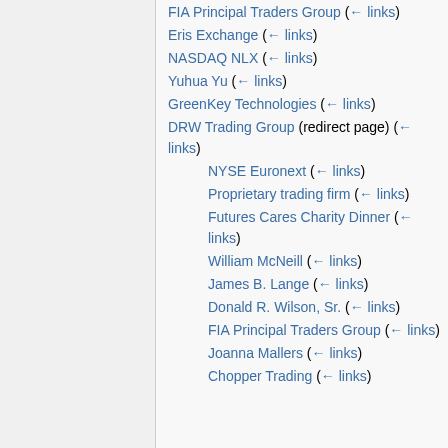FIA Principal Traders Group (← links)
Eris Exchange (← links)
NASDAQ NLX (← links)
Yuhua Yu (← links)
GreenKey Technologies (← links)
DRW Trading Group (redirect page) (← links)
NYSE Euronext (← links)
Proprietary trading firm (← links)
Futures Cares Charity Dinner (← links)
William McNeill (← links)
James B. Lange (← links)
Donald R. Wilson, Sr. (← links)
FIA Principal Traders Group (← links)
Joanna Mallers (← links)
Chopper Trading (← links)